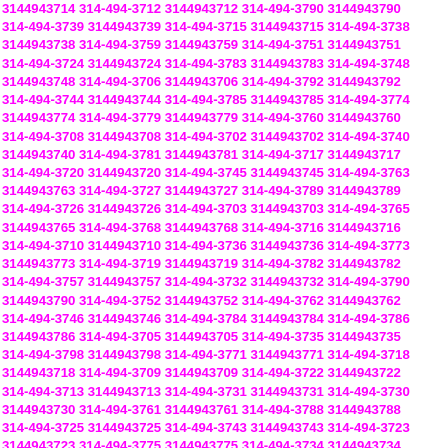3144943714 314-494-3712 3144943712 314-494-3790 3144943790 314-494-3739 3144943739 314-494-3715 3144943715 314-494-3738 3144943738 314-494-3759 3144943759 314-494-3751 3144943751 314-494-3724 3144943724 314-494-3783 3144943783 314-494-3748 3144943748 314-494-3706 3144943706 314-494-3792 3144943792 314-494-3744 3144943744 314-494-3785 3144943785 314-494-3774 3144943774 314-494-3779 3144943779 314-494-3760 3144943760 314-494-3708 3144943708 314-494-3702 3144943702 314-494-3740 3144943740 314-494-3781 3144943781 314-494-3717 3144943717 314-494-3720 3144943720 314-494-3745 3144943745 314-494-3763 3144943763 314-494-3727 3144943727 314-494-3789 3144943789 314-494-3726 3144943726 314-494-3703 3144943703 314-494-3765 3144943765 314-494-3768 3144943768 314-494-3716 3144943716 314-494-3710 3144943710 314-494-3736 3144943736 314-494-3773 3144943773 314-494-3719 3144943719 314-494-3782 3144943782 314-494-3757 3144943757 314-494-3732 3144943732 314-494-3790 3144943790 314-494-3752 3144943752 314-494-3762 3144943762 314-494-3746 3144943746 314-494-3784 3144943784 314-494-3786 3144943786 314-494-3705 3144943705 314-494-3735 3144943735 314-494-3798 3144943798 314-494-3771 3144943771 314-494-3718 3144943718 314-494-3709 3144943709 314-494-3722 3144943722 314-494-3713 3144943713 314-494-3731 3144943731 314-494-3730 3144943730 314-494-3761 3144943761 314-494-3788 3144943788 314-494-3725 3144943725 314-494-3743 3144943743 314-494-3723 3144943723 314-494-3775 3144943775 314-494-3734 3144943734 314-494-3797 3144943797 314-494-3722 3144943722 314-494-